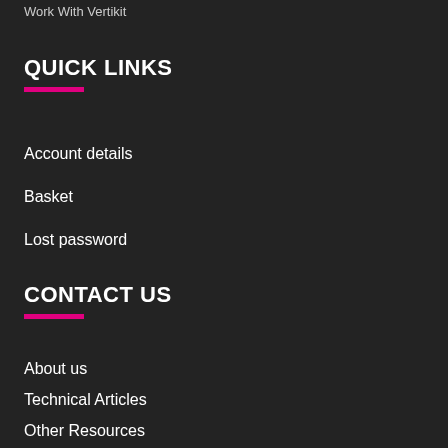Work With Vertikit
QUICK LINKS
Account details
Basket
Lost password
CONTACT US
About us
Technical Articles
Other Resources
Contact